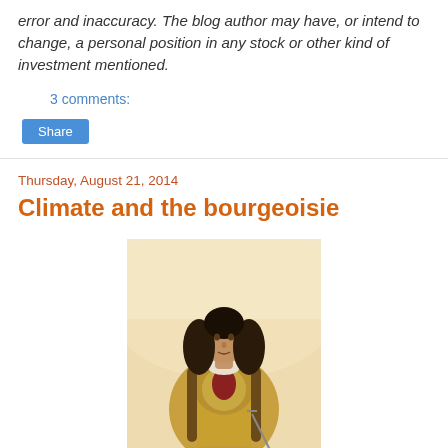error and inaccuracy. The blog author may have, or intend to change, a personal position in any stock or other kind of investment mentioned.
3 comments:
Share
Thursday, August 21, 2014
Climate and the bourgeoisie
[Figure (photo): A portrait illustration of a historical figure in ornate period costume, wearing a large decorative coat and holding a sword, with long dark curly hair, against a pale warm background.]